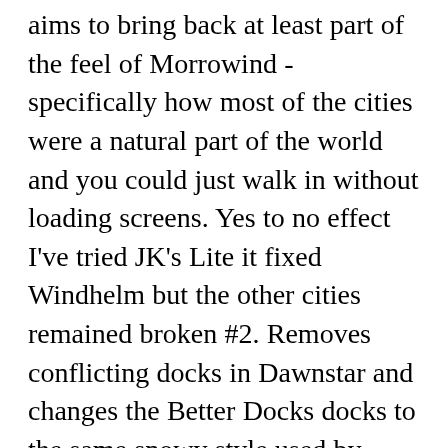aims to bring back at least part of the feel of Morrowind - specifically how most of the cities were a natural part of the world and you could just walk in without loading screens. Yes to no effect I've tried JK's Lite it fixed Windhelm but the other cities remained broken #2. Removes conflicting docks in Dawnstar and changes the Better Docks docks to the same snowy style used by JKS. Compatibility patch for exterior lighting mods. File is .esp / ESL flagged and won't take up a spot in your load order. Date uploaded. File size. 27 Mar 2019, 9:17AM. Patch notes in the download. Compacted FormIDs and added ESL Flag. Just make sure have and install ALL the patches - there are quite a few necessary.